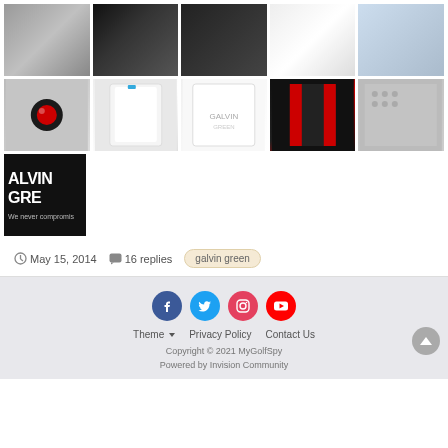[Figure (photo): Grid of 11 thumbnail images of Galvin Green golf apparel — two rows of 5 thumbnails and one additional thumbnail showing a black background with white text 'ALVIN GRE / We never compromis']
May 15, 2014  16 replies  galvin green
Theme  Privacy Policy  Contact Us  Copyright © 2021 MyGolfSpy  Powered by Invision Community